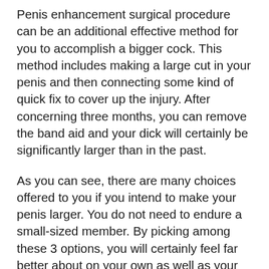Penis enhancement surgical procedure can be an additional effective method for you to accomplish a bigger cock. This method includes making a large cut in your penis and then connecting some kind of quick fix to cover up the injury. After concerning three months, you can remove the band aid and your dick will certainly be significantly larger than in the past.
As you can see, there are many choices offered to you if you intend to make your penis larger. You do not need to endure a small-sized member. By picking among these 3 options, you will certainly feel far better about on your own as well as your dimension. Since you recognize this, head out there and make your dreams come true!